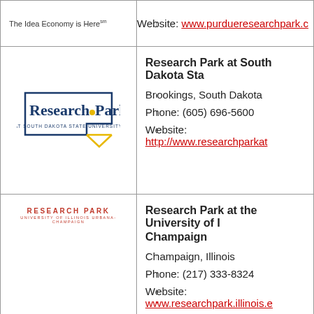| Logo | Information |
| --- | --- |
| The Idea Economy is Here™ | Website: www.purdueresearchpark.c… |
| Research Park at South Dakota State University logo | Research Park at South Dakota Sta…
Brookings, South Dakota
Phone: (605) 696-5600
Website: http://www.researchparkat… |
| Research Park University of Illinois Urbana-Champaign logo | Research Park at the University of Illinois Urbana-Champaign
Champaign, Illinois
Phone: (217) 333-8324
Website: www.researchpark.illinois.e… |